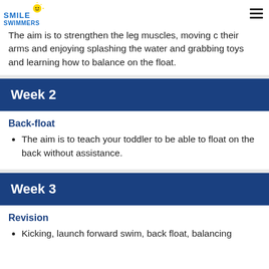Smile Swimmers logo
The aim is to strengthen the leg muscles, moving c their arms and enjoying splashing the water and grabbing toys and learning how to balance on the float.
Week 2
Back-float
The aim is to teach your toddler to be able to float on the back without assistance.
Week 3
Revision
Kicking, launch forward swim, back float, balancing